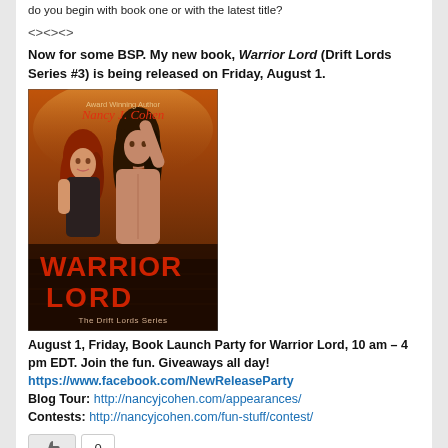do you begin with book one or with the latest title?
<><><>
Now for some BSP. My new book, Warrior Lord (Drift Lords Series #3) is being released on Friday, August 1.
[Figure (illustration): Book cover of Warrior Lord by Nancy J. Cohen, showing a woman and a shirtless man with a dramatic fiery background, title text reads WARRIOR LORD The Drift Lords Series]
August 1, Friday, Book Launch Party for Warrior Lord, 10 am – 4 pm EDT. Join the fun. Giveaways all day! https://www.facebook.com/NewReleaseParty Blog Tour: http://nancyjcohen.com/appearances/ Contests: http://nancyjcohen.com/fun-stuff/contest/